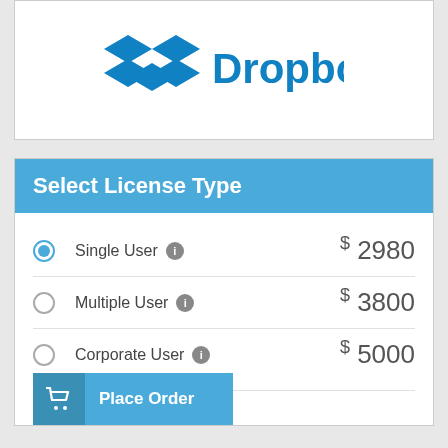[Figure (logo): Dropbox logo — blue open box icon with 'Dropbox' text in blue]
Select License Type
Single User  $2980
Multiple User  $3800
Corporate User  $5000
Place Order